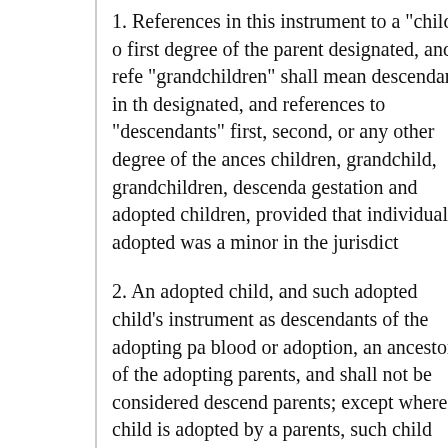1. References in this instrument to a "child" or first degree of the parent designated, and references to "grandchildren" shall mean descendants in the designated, and references to "descendants" first, second, or any other degree of the ancestors children, grandchild, grandchildren, descendants gestation and adopted children, provided that individual adopted was a minor in the jurisdiction
2. An adopted child, and such adopted child's instrument as descendants of the adopting parents blood or adoption, an ancestor of the adopting parents, and shall not be considered descendants parents; except where a child is adopted by a parents, such child shall be considered a descendant a descendant of the adopting parent.
3. The term "person" shall mean and include an association, a trust, an estate, or any other